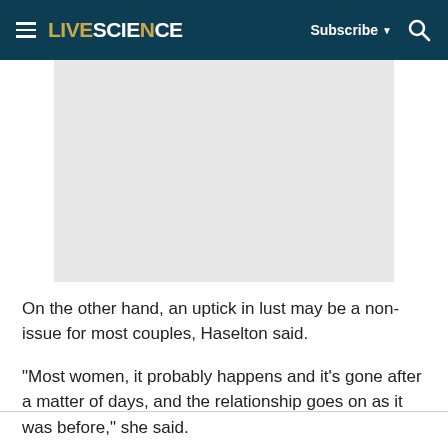LIVESCIENCE — Subscribe — Search
[Figure (photo): Gray placeholder image area]
On the other hand, an uptick in lust may be a non-issue for most couples, Haselton said.
"Most women, it probably happens and it's gone after a matter of days, and the relationship goes on as it was before," she said.